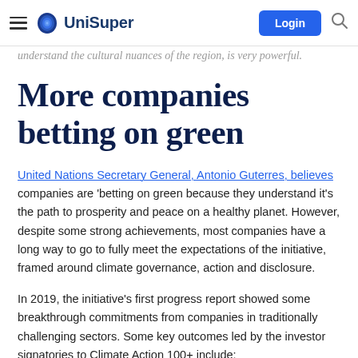UniSuper | Login
understand the cultural nuances of the region, is very powerful.
More companies betting on green
United Nations Secretary General, Antonio Guterres, believes companies are 'betting on green because they understand it's the path to prosperity and peace on a healthy planet. However, despite some strong achievements, most companies have a long way to go to fully meet the expectations of the initiative, framed around climate governance, action and disclosure.
In 2019, the initiative's first progress report showed some breakthrough commitments from companies in traditionally challenging sectors. Some key outcomes led by the investor signatories to Climate Action 100+ include: